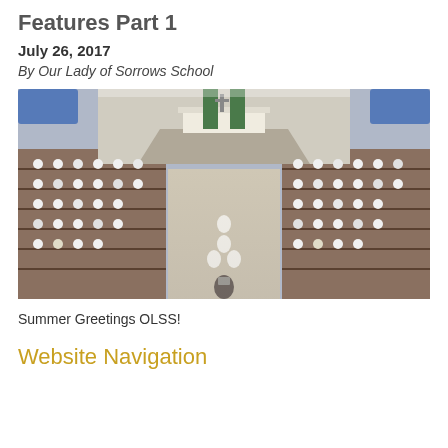Features Part 1
July 26, 2017
By Our Lady of Sorrows School
[Figure (photo): Interior of a church filled with school students in uniform sitting in pews during a mass or school ceremony. Altar visible at the front with green decorations. Several students in white walking down the center aisle. A person in the foreground is taking a photo.]
Summer Greetings OLSS!
Website Navigation